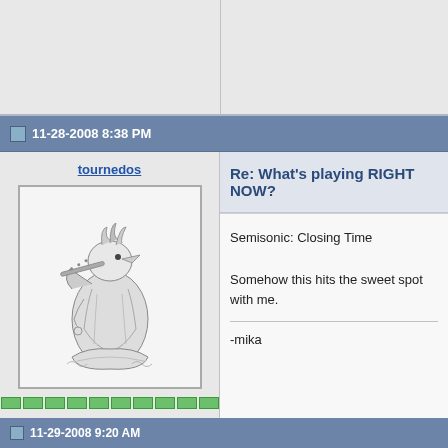11-28-2008 8:38 PM
tournedos
[Figure (illustration): Black and white illustration of a stylized bird-like figure playing a flute, wearing ornate robes, standing on a decorative base]
Joined on 12-08-2007
Finland
Posts 5,808
Re: What's playing RIGHT NOW?
Semisonic: Closing Time

Somehow this hits the sweet spot with me.
-mika
11-29-2008 9:20 AM